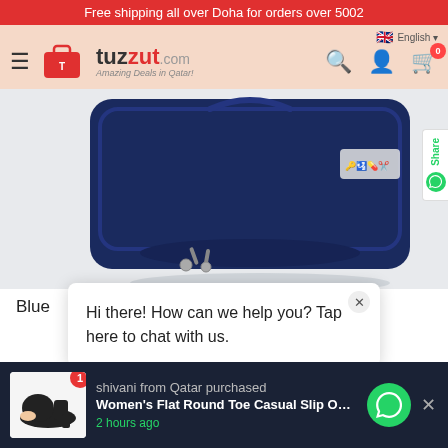Free shipping all over Doha for orders over 500
[Figure (logo): Tuzzut.com logo with shopping bag icon and tagline 'Amazing Deals in Qatar!' on a salmon/peach navbar background, with hamburger menu, search, account, and cart icons]
[Figure (photo): Navy blue travel toiletry bag with zipper pull, shown at an angle on white background. Icons on a silver label on the bag indicate storage compartments.]
Blue
Hi there! How can we help you? Tap here to chat with us.
[Figure (photo): Purchase notification bar showing a woman's shoe product: 'shivani from Qatar purchased Women's Flat Round Toe Casual Slip On L... 2 hours ago' with WhatsApp icon]
shivani from Qatar purchased Women's Flat Round Toe Casual Slip On L 2 hours ago